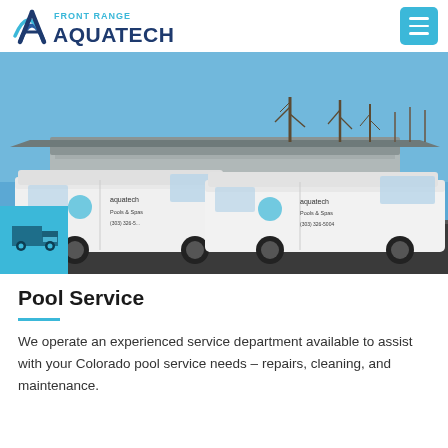Front Range Aquatech
[Figure (photo): Two white Aquatech pool service vans parked in front of a commercial building with a blue sky background. A cyan box with a delivery truck icon is overlaid in the bottom-left corner.]
Pool Service
We operate an experienced service department available to assist with your Colorado pool service needs – repairs, cleaning, and maintenance.